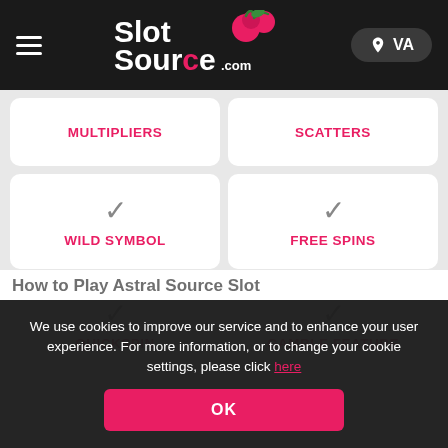SlotSource.com — VA
MULTIPLIERS
SCATTERS
✓ WILD SYMBOL
✓ FREE SPINS
✓ QUICKSPIN
✓ GAMBLE FEATURE
We use cookies to improve our service and to enhance your user experience. For more information, or to change your cookie settings, please click here
OK